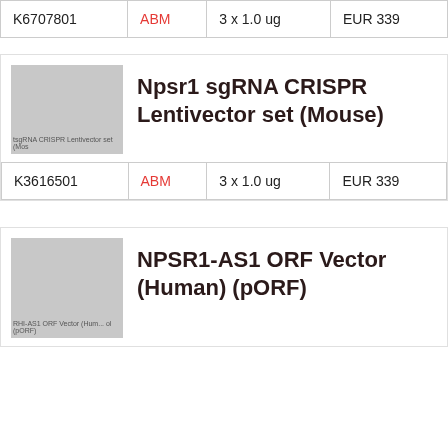| Product ID | Brand | Quantity | Price |
| --- | --- | --- | --- |
| K6707801 | ABM | 3 x 1.0 ug | EUR 339 |
[Figure (photo): Thumbnail image of Npsr1 sgRNA CRISPR Lentivector set (Mouse) product]
Npsr1 sgRNA CRISPR Lentivector set (Mouse)
| Product ID | Brand | Quantity | Price |
| --- | --- | --- | --- |
| K3616501 | ABM | 3 x 1.0 ug | EUR 339 |
[Figure (photo): Thumbnail image of NPSR1-AS1 ORF Vector (Human) (pORF) product]
NPSR1-AS1 ORF Vector (Human) (pORF)